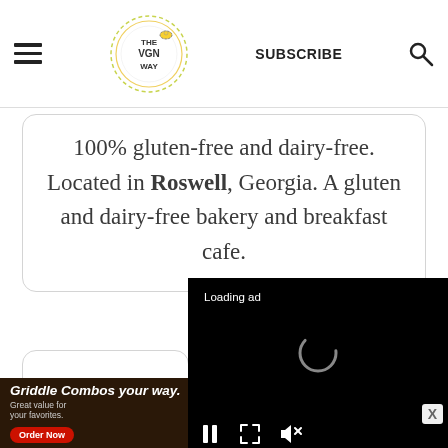THE VGN WAY — SUBSCRIBE
100% gluten-free and dairy-free. Located in Roswell, Georgia. A gluten and dairy-free bakery and breakfast cafe.
[Figure (screenshot): Video ad player with black background showing 'Loading ad' text, a loading spinner, pause button, fullscreen button, and mute button.]
[Figure (screenshot): IHOP banner advertisement: 'Griddle Combos your way. Great value for your favorites. Order Now' with food images and IHOP logo.]